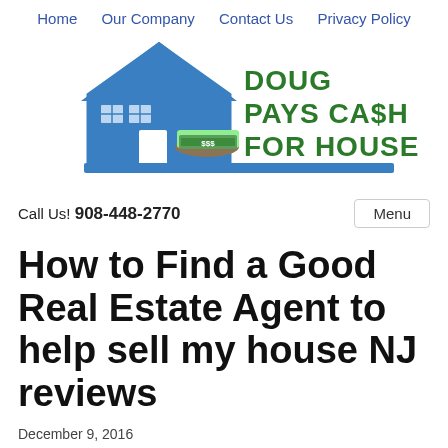Home  Our Company  Contact Us  Privacy Policy
[Figure (logo): Doug Pays Cash For Houses logo with blue house outline and stacks of cash money graphic]
Call Us! 908-448-2770
How to Find a Good Real Estate Agent to help sell my house NJ reviews
December 9, 2016